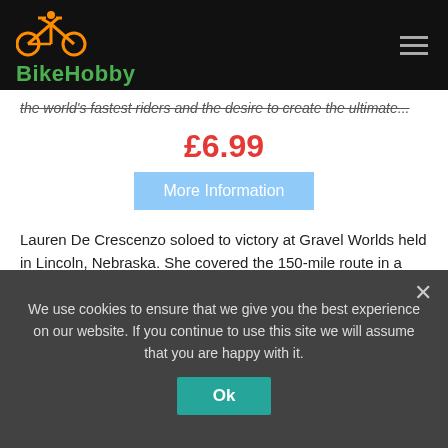BikeHobby
the world's fastest riders and the desire to create the ultimate...
£6.99
More Information
Lauren De Crescenzo soloed to victory at Gravel Worlds held in Lincoln, Nebraska. She covered the 150-mile route in a winning time of 7:33:03 beating runner up Paige Onweller by 14:02 and third-placed Heather Jackson by 16:21.
We use cookies to ensure that we give you the best experience on our website. If you continue to use this site we will assume that you are happy with it.
Ok